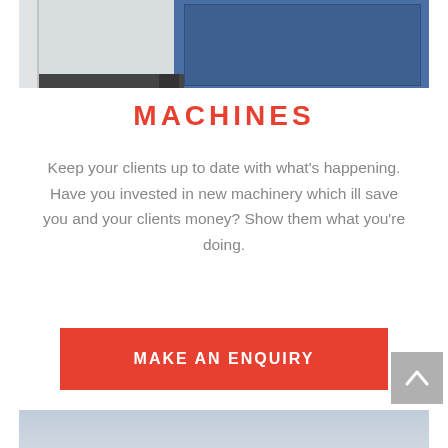[Figure (photo): Interior photo showing a blue cabinet/door with grey floor mat, industrial setting]
MACHINES
Keep your clients up to date with what's happening. Have you invested in new machinery which ill save you and your clients money? Show them what you're doing.
[Figure (other): Red button/CTA: MAKE AN ENQUIRY]
[Figure (photo): Outdoor photo of a red truck on a road with mountains and cloudy sky in background]